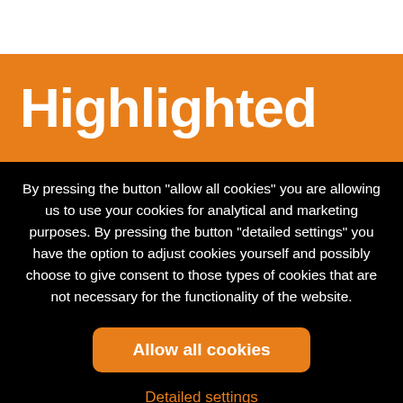Highlighted
By pressing the button “allow all cookies” you are allowing us to use your cookies for analytical and marketing purposes. By pressing the button “detailed settings” you have the option to adjust cookies yourself and possibly choose to give consent to those types of cookies that are not necessary for the functionality of the website.
Allow all cookies
Detailed settings